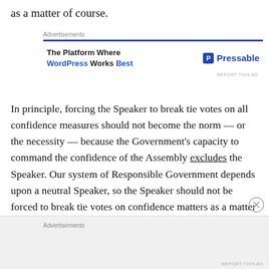as a matter of course.
[Figure (other): Advertisement banner: 'The Platform Where WordPress Works Best' — Pressable]
In principle, forcing the Speaker to break tie votes on all confidence measures should not become the norm — or the necessity — because the Government's capacity to command the confidence of the Assembly excludes the Speaker. Our system of Responsible Government depends upon a neutral Speaker, so the Speaker should not be forced to break tie votes on confidence matters as a matter of course, and thereby ensure that the
[Figure (other): Advertisements banner at bottom of page]